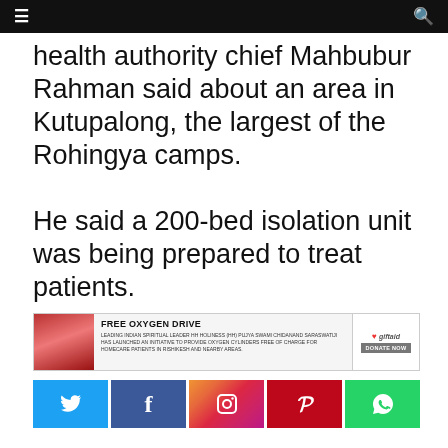Navigation bar
health authority chief Mahbubur Rahman said about an area in Kutupalong, the largest of the Rohingya camps.
He said a 200-bed isolation unit was being prepared to treat patients.
[Figure (infographic): Advertisement banner: FREE OXYGEN DRIVE - Leading Indian spiritual leader HH Holiness (HH) Pujya Swami Chidanand Saraswatiji has launched an initiative to provide oxygen cylinders free of charge for homecare patients in Rishikesh and nearby areas. With giftaid donate now button.]
[Figure (infographic): Social media sharing buttons: Twitter (blue), Facebook (dark blue), Instagram (gradient), Pinterest (red), WhatsApp (green)]
[Figure (infographic): Advertisement banner: GG2 Power List 2022, Britain's 101 Most Influential Asians, Click here for the full list. Shows portrait photos of influential Asians.]